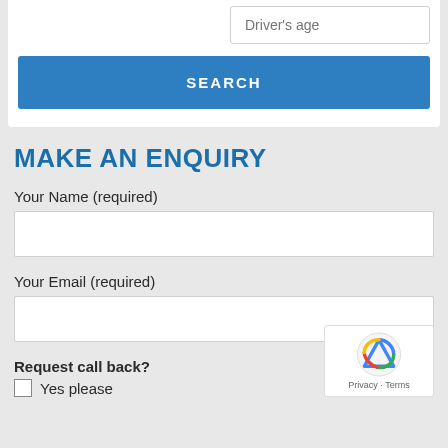Driver's age
SEARCH
MAKE AN ENQUIRY
Your Name (required)
Your Email (required)
Request call back?
Yes please